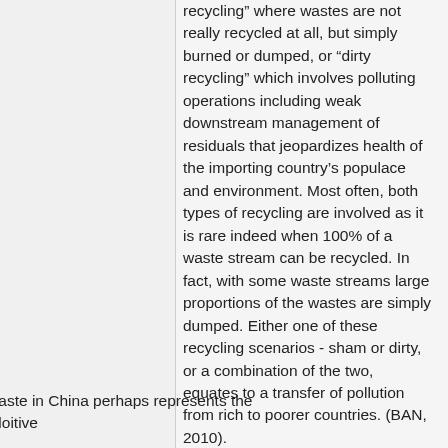recycling” where wastes are not really recycled at all, but simply burned or dumped, or “dirty recycling” which involves polluting operations including weak downstream management of residuals that jeopardizes health of the importing country’s populace and environment. Most often, both types of recycling are involved as it is rare indeed when 100% of a waste stream can be recycled. In fact, with some waste streams large proportions of the wastes are simply dumped. Either one of these recycling scenarios - sham or dirty, or a combination of the two, equates to a transfer of pollution from rich to poorer countries. (BAN, 2010).
While the disposal of e-waste in China perhaps represents the leading edge of such exploitive